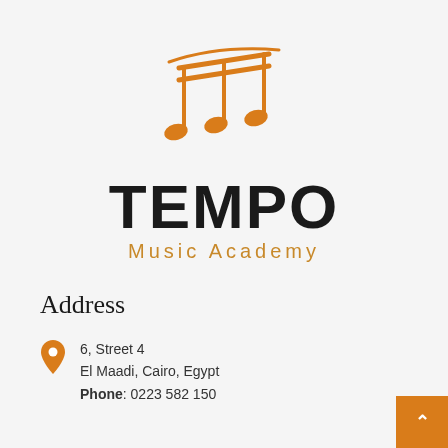[Figure (logo): Tempo Music Academy logo with orange musical notes icon above bold black TEMPO text and orange 'Music Academy' subtitle]
Address
6, Street 4
El Maadi, Cairo, Egypt
Phone: 0223 582 150